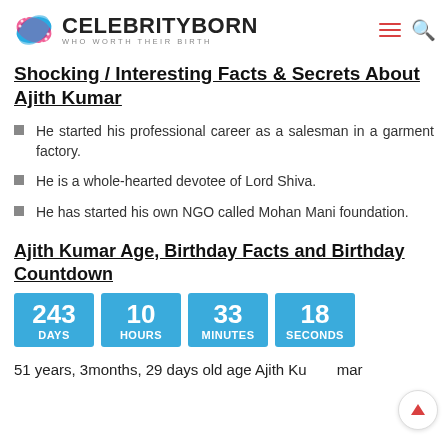CELEBRITYBORN — WHO WORTH THEIR BIRTH
Shocking / Interesting Facts & Secrets About Ajith Kumar
He started his professional career as a salesman in a garment factory.
He is a whole-hearted devotee of Lord Shiva.
He has started his own NGO called Mohan Mani foundation.
Ajith Kumar Age, Birthday Facts and Birthday Countdown
[Figure (infographic): Birthday countdown showing 243 DAYS, 10 HOURS, 33 MINUTES, 18 SECONDS in blue boxes]
51 years, 3months, 29 days old age Ajith Kumar